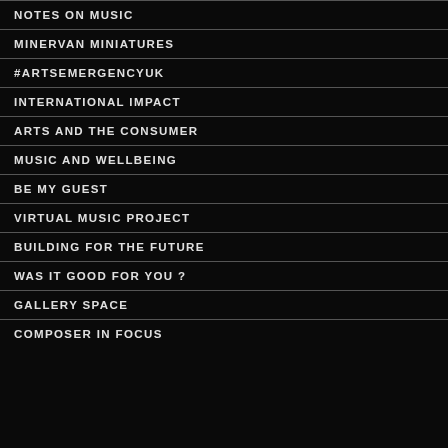NOTES ON MUSIC
MINERVAN MINIATURES
#ARTSEMERGENCYUK
INTERNATIONAL IMPACT
ARTS AND THE CONSUMER
MUSIC AND WELLBEING
BE MY GUEST
VIRTUAL MUSIC PROJECT
BUILDING FOR THE FUTURE
WAS IT GOOD FOR YOU?
GALLERY SPACE
COMPOSER IN FOCUS